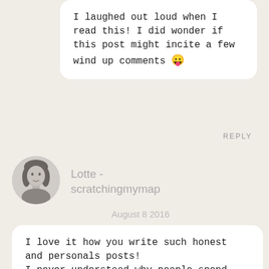I laughed out loud when I read this! I did wonder if this post might incite a few wind up comments 😛
REPLY
[Figure (photo): Avatar photo of a young woman with dark shoulder-length hair, grayscale]
Lotte - scratchingmymap
August 8 2016
I love it how you write such honest and personals posts! I never understood why people spend their time typing a mean and not well reasoned comment… That's probably the bad part of having such a big Wanderland- community that there will b…